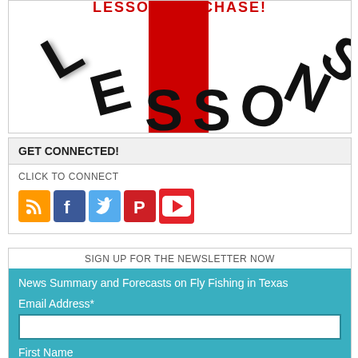[Figure (logo): Circular logo with large bold black letters spelling LESSONS arranged in a circle, red cross/rectangle in center, text 'LESSON PURCHASE!' in red at the top]
GET CONNECTED!
CLICK TO CONNECT
[Figure (infographic): Row of social media icons: RSS (orange), Facebook (blue), Twitter (light blue), Pinterest (red), YouTube (red)]
SIGN UP FOR THE NEWSLETTER NOW
News Summary and Forecasts on Fly Fishing in Texas
Email Address*
First Name